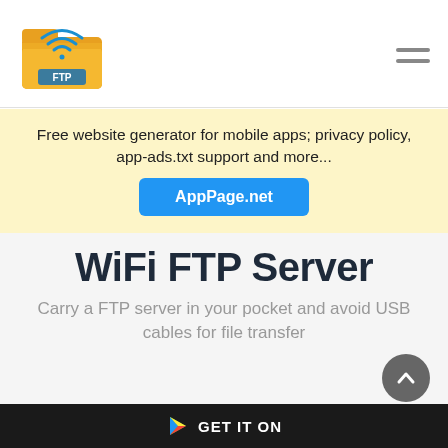[Figure (logo): WiFi FTP Server app icon: yellow folder with WiFi signal waves and FTP label]
Free website generator for mobile apps; privacy policy, app-ads.txt support and more...
AppPage.net
WiFi FTP Server
Carry a FTP server in your pocket and avoid USB cables for file transfer
GET IT ON